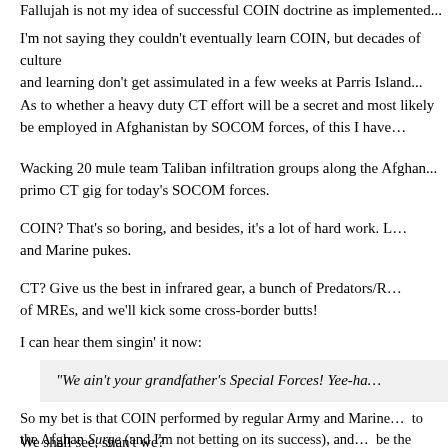Fallujah is not my idea of successful COIN doctrine as implemented...
I'm not saying they couldn't eventually learn COIN, but decades of culture and learning don't get assimulated in a few weeks at Parris Island...
As to whether a heavy duty CT effort will be a secret and most likely be employed in Afghanistan by SOCOM forces, of this I have...
Wacking 20 mule team Taliban infiltration groups along the Afghan... primo CT gig for today's SOCOM forces.
COIN? That's so boring, and besides, it's a lot of hard work. L... and Marine pukes.
CT? Give us the best in infrared gear, a bunch of Predators/R... of MREs, and we'll kick some cross-border butts!
I can hear them singin' it now:
"We ain't your grandfather's Special Forces! Yee-ha...
So my bet is that COIN performed by regular Army and Marine... to the Afghan Surge (and I'm not betting on its success), and... be the secret, not-so-public face and I'm not betting on its success...
We shall see, shan't we?